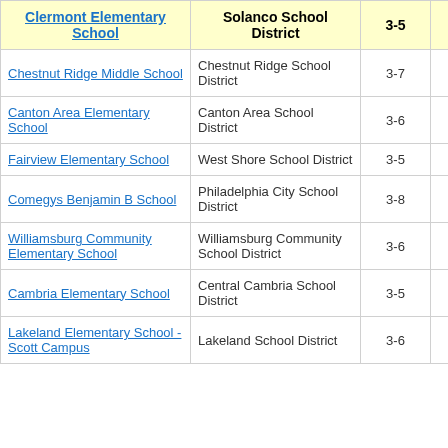| School | District | Grades | Score |
| --- | --- | --- | --- |
| Clermont Elementary School | Solanco School District | 3-5 | 5. |
| Chestnut Ridge Middle School | Chestnut Ridge School District | 3-7 | -0. |
| Canton Area Elementary School | Canton Area School District | 3-6 | -0. |
| Fairview Elementary School | West Shore School District | 3-5 | -0. |
| Comegys Benjamin B School | Philadelphia City School District | 3-8 | -0. |
| Williamsburg Community Elementary School | Williamsburg Community School District | 3-6 | -0. |
| Cambria Elementary School | Central Cambria School District | 3-5 | -0. |
| Lakeland Elementary School - Scott Campus | Lakeland School District | 3-6 | -0. |